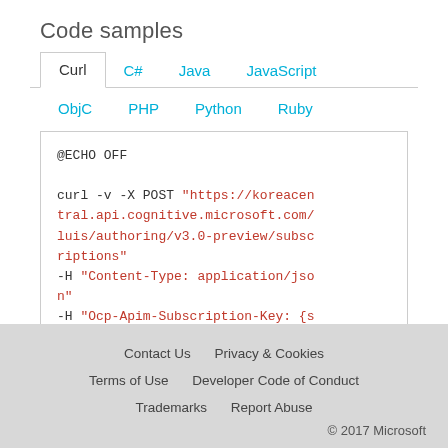Code samples
Curl  C#  Java  JavaScript  ObjC  PHP  Python  Ruby
@ECHO OFF

curl -v -X POST "https://koreacentral.api.cognitive.microsoft.com/luis/authoring/v3.0-preview/subscriptions"
-H "Content-Type: application/json"
-H "Ocp-Apim-Subscription-Key: {subscription key}"
Contact Us   Privacy & Cookies   Terms of Use   Developer Code of Conduct   Trademarks   Report Abuse   © 2017 Microsoft